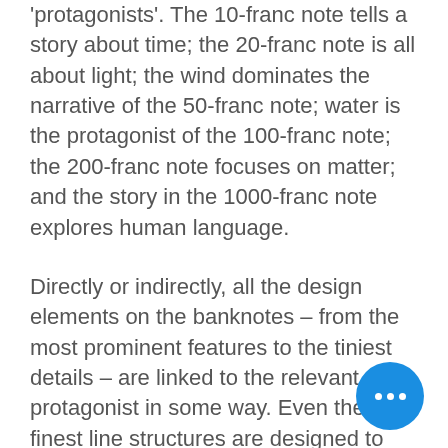'protagonists'. The 10-franc note tells a story about time; the 20-franc note is all about light; the wind dominates the narrative of the 50-franc note; water is the protagonist of the 100-franc note; the 200-franc note focuses on matter; and the story in the 1000-franc note explores human language.
Directly or indirectly, all the design elements on the banknotes – from the most prominent features to the tiniest details – are linked to the relevant protagonist in some way. Even the finest line structures are designed to articulate an aspect of the protagonist and to tie in with the respective story. Time, light, wind, water, matter and language – all these may appear passive and